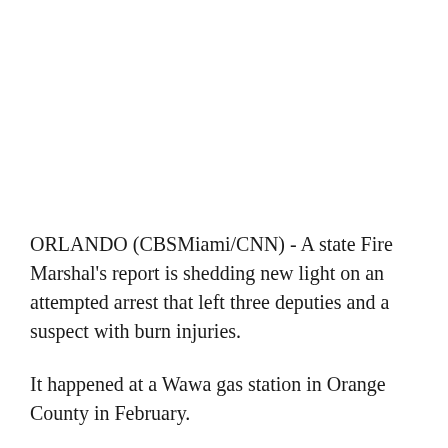ORLANDO (CBSMiami/CNN) - A state Fire Marshal's report is shedding new light on an attempted arrest that left three deputies and a suspect with burn injuries.
It happened at a Wawa gas station in Orange County in February.
Surveillance video from the station shows flames